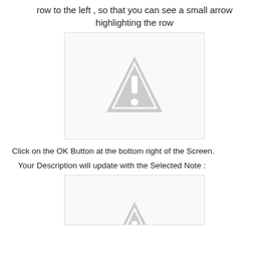row to the left , so that you can see a small arrow highlighting the row
[Figure (screenshot): A screenshot placeholder box with a grey warning/image-missing triangle icon in the center]
Click on the OK Button at the bottom right of the Screen.
Your Description will update with the Selected Note :
[Figure (screenshot): A screenshot placeholder box with a partially visible grey warning/image-missing triangle icon at the bottom center]